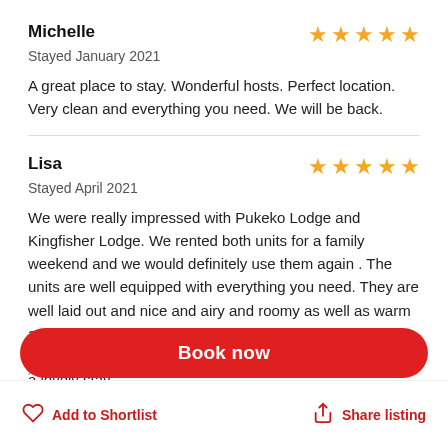Michelle
Stayed January 2021
[Figure (other): 5 gold star rating icons]
A great place to stay. Wonderful hosts. Perfect location. Very clean and everything you need. We will be back.
Lisa
Stayed April 2021
[Figure (other): 5 gold star rating icons]
We were really impressed with Pukeko Lodge and Kingfisher Lodge. We rented both units for a family weekend and we would definitely use them again . The units are well equipped with everything you need. They are well laid out and nice and airy and roomy as well as warm and cosy. The close proximity to the river and the cycle/walking trail is an added bonus. Thanks so much for a lovely stay.
Book now
Add to Shortlist
Share listing